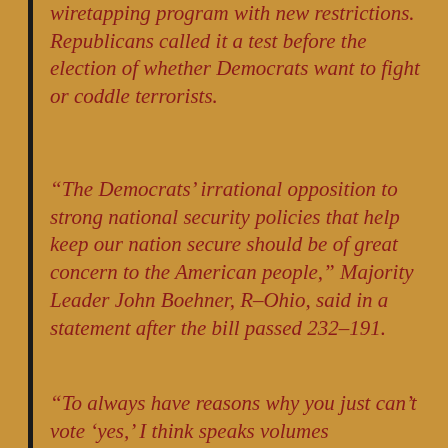wiretapping program with new restrictions. Republicans called it a test before the election of whether Democrats want to fight or coddle terrorists.
“The Democrats’ irrational opposition to strong national security policies that help keep our nation secure should be of great concern to the American people,” Majority Leader John Boehner, R–Ohio, said in a statement after the bill passed 232–191.
“To always have reasons why you just can’t vote ‘yes,’ I think speaks volumes about the reasons which people…